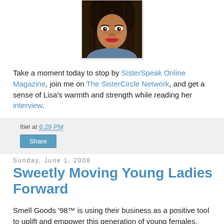[Figure (photo): Portrait photo of a woman with long braided hair and red lipstick, smiling]
Take a moment today to stop by SisterSpeak Online Magazine, join me on The SisterCircle Network, and get a sense of Lisa's warmth and strength while reading her interview.
Itiel at 6:29 PM
Share
Sunday, June 1, 2008
Sweetly Moving Young Ladies Forward
Smell Goods '98™ is using their business as a positive tool to uplift and empower this generation of young females.